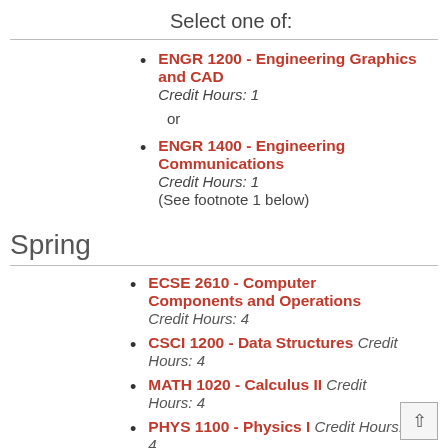Select one of:
ENGR 1200 - Engineering Graphics and CAD Credit Hours: 1
or
ENGR 1400 - Engineering Communications Credit Hours: 1 (See footnote 1 below)
Spring
ECSE 2610 - Computer Components and Operations Credit Hours: 4
CSCI 1200 - Data Structures Credit Hours: 4
MATH 1020 - Calculus II Credit Hours: 4
PHYS 1100 - Physics I Credit Hours: 4